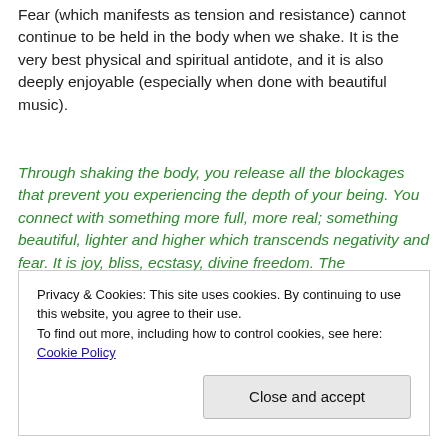Fear (which manifests as tension and resistance) cannot continue to be held in the body when we shake. It is the very best physical and spiritual antidote, and it is also deeply enjoyable (especially when done with beautiful music).
Through shaking the body, you release all the blockages that prevent you experiencing the depth of your being. You connect with something more full, more real; something beautiful, lighter and higher which transcends negativity and fear. It is joy, bliss, ecstasy, divine freedom. The fundamental Truth of who you are.
Privacy & Cookies: This site uses cookies. By continuing to use this website, you agree to their use. To find out more, including how to control cookies, see here: Cookie Policy